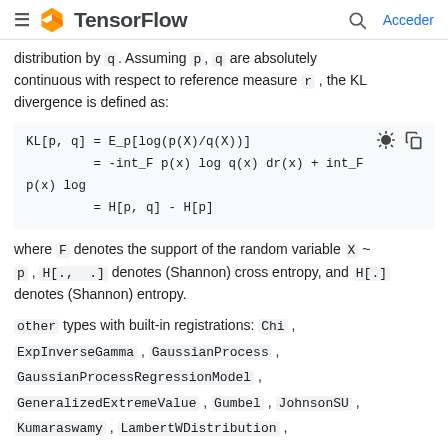TensorFlow — Acceder
distribution by q. Assuming p, q are absolutely continuous with respect to reference measure r , the KL divergence is defined as:
where F denotes the support of the random variable X ~ p , H[., .] denotes (Shannon) cross entropy, and H[.] denotes (Shannon) entropy.
other types with built-in registrations: Chi , ExpInverseGamma , GaussianProcess , GaussianProcessRegressionModel , GeneralizedExtremeValue , Gumbel , JohnsonSU , Kumaraswamy , LambertWDistribution ,